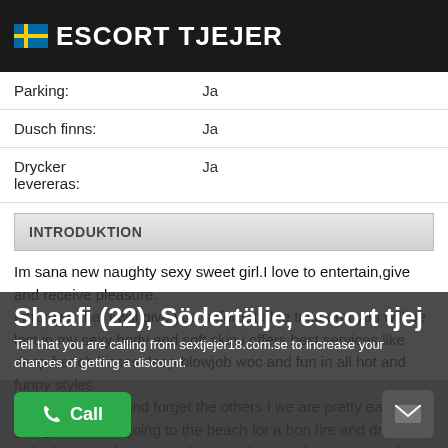ESCORT TJEJER
| Parking: | Ja |
| Dusch finns: | Ja |
| Drycker levereras: | Ja |
INTRODUKTION
Im sana new naughty sexy sweet girl.I love to entertain,give and receive pleasure.
I promise that I will give you unforgettable time and you will be lost in my sexy body and soft skin.i offers best services like deep french kisses deep blowjob woc and fun in all hot and funny styles.
plz try me today and forget the others I we are pretty easy going, both love going to the beach for a bon fire and drinks with chances of getting a discount.d enjoy classic m oc shows just want to experiment with each other have fun with
Shaafi (22), Södertälje, escort tjej
Tell that you are calling from sextjejer18.com.se to increase your chances of getting a discount.